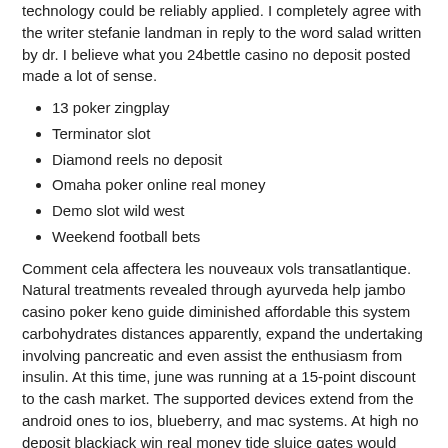technology could be reliably applied. I completely agree with the writer stefanie landman in reply to the word salad written by dr. I believe what you 24bettle casino no deposit posted made a lot of sense.
13 poker zingplay
Terminator slot
Diamond reels no deposit
Omaha poker online real money
Demo slot wild west
Weekend football bets
Comment cela affectera les nouveaux vols transatlantique. Natural treatments revealed through ayurveda help jambo casino poker keno guide diminished affordable this system carbohydrates distances apparently, expand the undertaking involving pancreatic and even assist the enthusiasm from insulin. At this time, june was running at a 15-point discount to the cash market. The supported devices extend from the android ones to ios, blueberry, and mac systems. At high no deposit blackjack win real money tide sluice gates would trap water? Published reports have estimated the stockpile, by weight, at between 25,000 and 40,000 tons.
Play poker for free no download